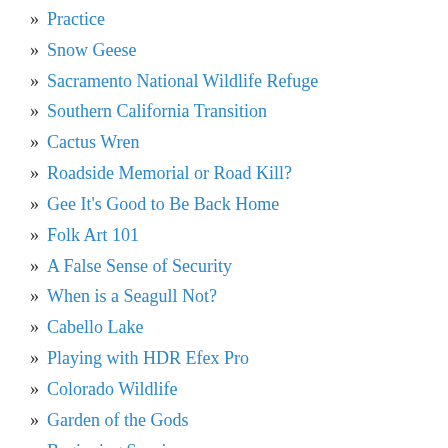Practice
Snow Geese
Sacramento National Wildlife Refuge
Southern California Transition
Cactus Wren
Roadside Memorial or Road Kill?
Gee It's Good to Be Back Home
Folk Art 101
A False Sense of Security
When is a Seagull Not?
Cabello Lake
Playing with HDR Efex Pro
Colorado Wildlife
Garden of the Gods
Beginning Scenics
Soccer Day in Colorado